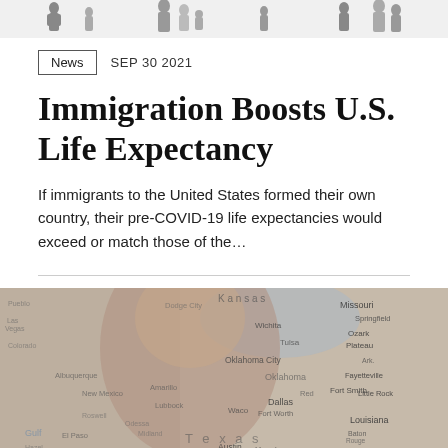[Figure (illustration): Top banner with silhouette figures of people of various heights representing diverse immigrants]
News   SEP 30 2021
Immigration Boosts U.S. Life Expectancy
If immigrants to the United States formed their own country, their pre-COVID-19 life expectancies would exceed or match those of the...
[Figure (photo): Composite image of a US map overlaid with a close-up portrait of a person, showing geographic regions including Texas, Oklahoma, Kansas, Missouri, Louisiana, Arkansas, and other southern/central US states]